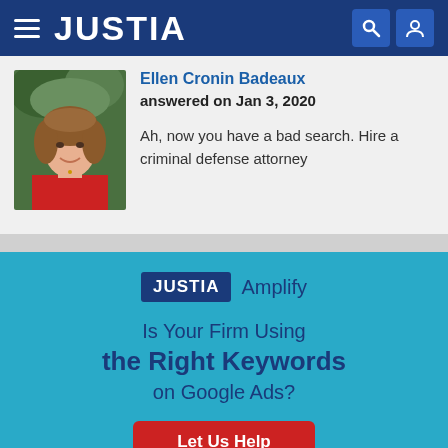JUSTIA
Ellen Cronin Badeaux
answered on Jan 3, 2020

Ah, now you have a bad search. Hire a criminal defense attorney
[Figure (infographic): Justia Amplify advertisement: Is Your Firm Using the Right Keywords on Google Ads? Let Us Help]
JUSTIA Amplify - Is Your Firm Using the Right Keywords on Google Ads? Let Us Help